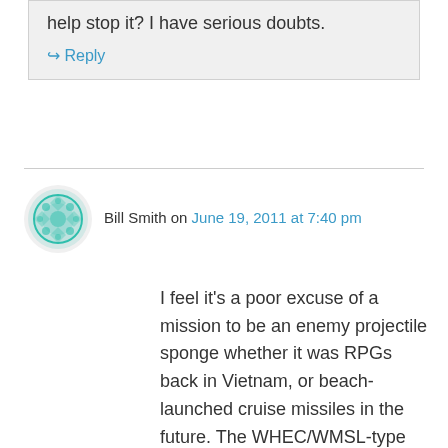help stop it? I have serious doubts.
↪ Reply
Bill Smith on June 19, 2011 at 7:40 pm
I feel it's a poor excuse of a mission to be an enemy projectile sponge whether it was RPGs back in Vietnam, or beach-launched cruise missiles in the future. The WHEC/WMSL-type Cutter is the only viable platform the CG has which is of size and weight to be useful in a broad range of military missions to the Navy. However, the CG doesn't build them to Navy survivability standards, does not plan for advanced weapons fit, and does not train/have in inventory qualified personnel to operate those